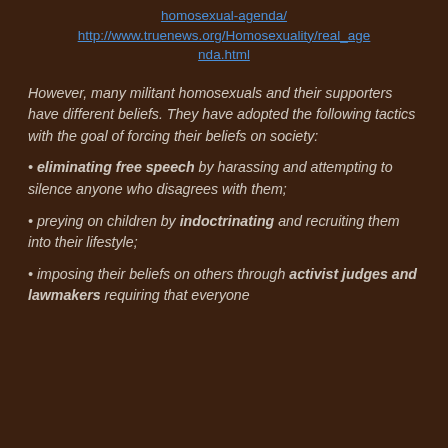http://www.christiantruth.com/articles-real-homosexual-agenda/ http://www.truenews.org/Homosexuality/real_agenda.html
However, many militant homosexuals and their supporters have different beliefs. They have adopted the following tactics with the goal of forcing their beliefs on society:
• eliminating free speech by harassing and attempting to silence anyone who disagrees with them;
• preying on children by indoctrinating and recruiting them into their lifestyle;
• imposing their beliefs on others through activist judges and lawmakers requiring that everyone